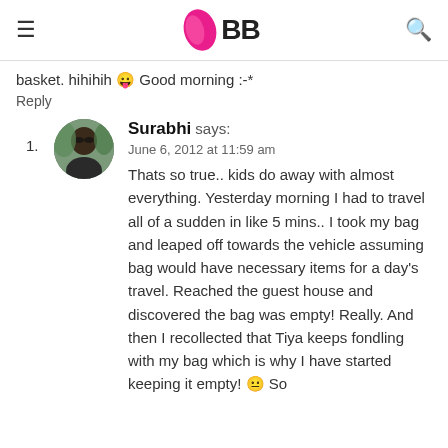IMBB
basket. hihihih 😛 Good morning :-*
Reply
1. Surabhi says:
June 6, 2012 at 11:59 am
Thats so true.. kids do away with almost everything. Yesterday morning I had to travel all of a sudden in like 5 mins.. I took my bag and leaped off towards the vehicle assuming bag would have necessary items for a day's travel. Reached the guest house and discovered the bag was empty! Really. And then I recollected that Tiya keeps fondling with my bag which is why I have started keeping it empty! 😐 So